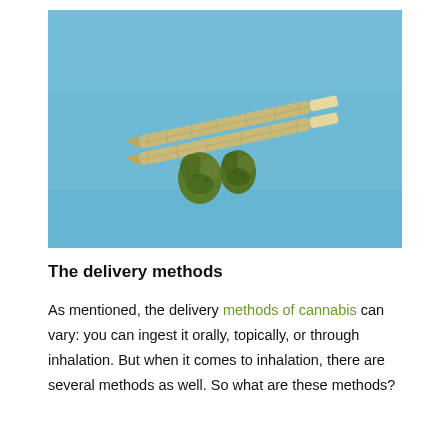[Figure (photo): Two rolled cannabis joints and two small cannabis buds on a light blue background]
The delivery methods
As mentioned, the delivery methods of cannabis can vary: you can ingest it orally, topically, or through inhalation. But when it comes to inhalation, there are several methods as well. So what are these methods?